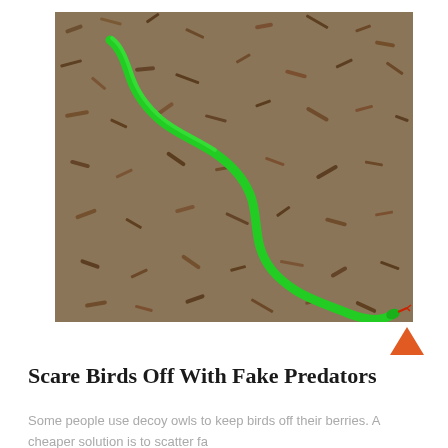[Figure (photo): A bright green rubber/plastic toy snake lying on dark soil and mulch ground cover, with a small red forked tongue visible at the right end. The snake is arranged in a natural-looking wavy/curved pose across the dirt.]
Scare Birds Off With Fake Predators
Some people use decoy owls to keep birds off their berries. A cheaper solution is to scatter fa...